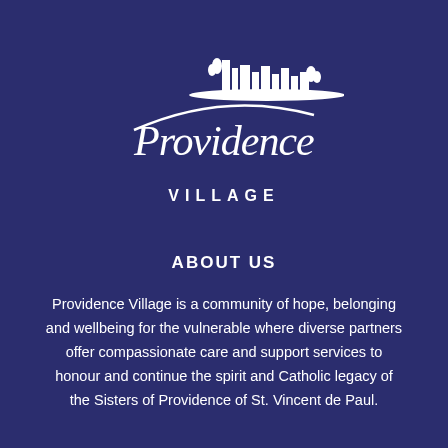[Figure (logo): Providence Village logo: white script text 'Providence' with a white cityscape/skyline silhouette above and a swooping arc line, with 'VILLAGE' in white uppercase serif below]
ABOUT US
Providence Village is a community of hope, belonging and wellbeing for the vulnerable where diverse partners offer compassionate care and support services to honour and continue the spirit and Catholic legacy of the Sisters of Providence of St. Vincent de Paul.